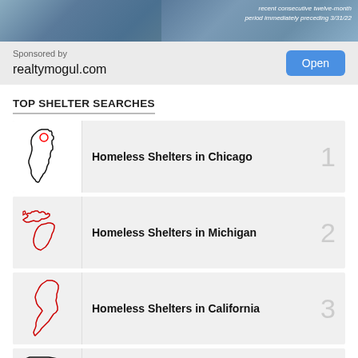[Figure (photo): Banner advertisement image showing a building, partially visible, with text overlay reading 'recent consecutive twelve-month period immediately preceding 3/31/22']
Sponsored by
realtymogul.com
Open
TOP SHELTER SEARCHES
Homeless Shelters in Chicago
Homeless Shelters in Michigan
Homeless Shelters in California
Homeless Shelters in Orlando